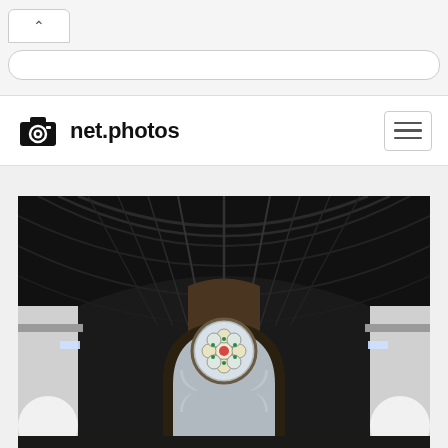net.photos
[Figure (photo): Interior of a Gothic church nave looking toward the east end, showing a dark wooden barrel-vaulted ceiling with arched ribs, white side walls, and a decorative rose window with stained glass at the far end featuring red and green floral motifs]